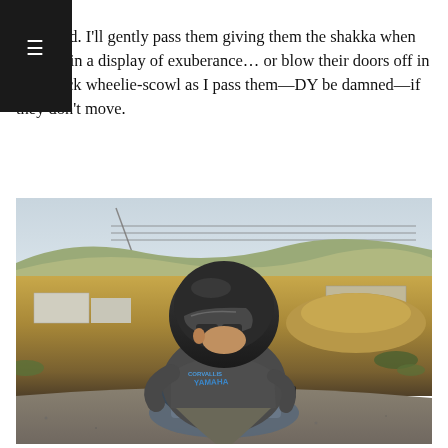supposed. I'll gently pass them giving them the shakka when do in a display of exuberance... or blow their doors off in k-back wheelie-scowl as I pass them—DY be damned—if they don't move.
[Figure (photo): A motorcyclist seen from behind, wearing a dark helmet with visor and a grey t-shirt with blue text reading something like 'YAMAHA'. The rider is on a motorcycle on a gravel/asphalt road, with an arid, hilly desert landscape in the background under a hazy sky.]